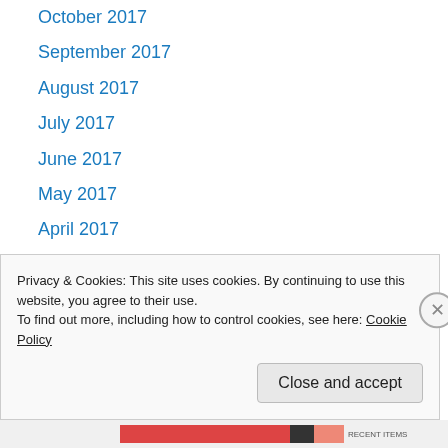October 2017
September 2017
August 2017
July 2017
June 2017
May 2017
April 2017
March 2017
February 2017
January 2017
December 2016
November 2016
October 2016
Privacy & Cookies: This site uses cookies. By continuing to use this website, you agree to their use. To find out more, including how to control cookies, see here: Cookie Policy
Close and accept